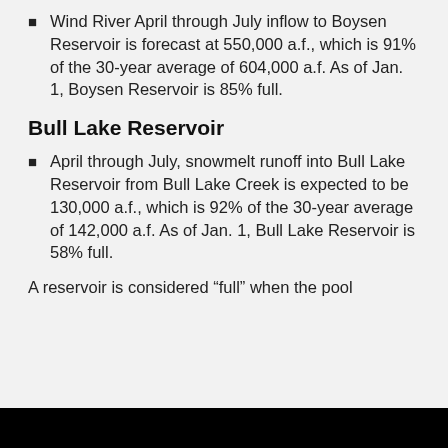Wind River April through July inflow to Boysen Reservoir is forecast at 550,000 a.f., which is 91% of the 30-year average of 604,000 a.f. As of Jan. 1, Boysen Reservoir is 85% full.
Bull Lake Reservoir
April through July, snowmelt runoff into Bull Lake Reservoir from Bull Lake Creek is expected to be 130,000 a.f., which is 92% of the 30-year average of 142,000 a.f. As of Jan. 1, Bull Lake Reservoir is 58% full.
A reservoir is considered “full” when the pool